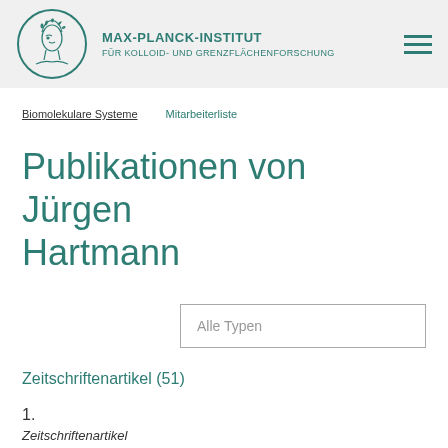MAX-PLANCK-INSTITUT FÜR KOLLOID- UND GRENZFLÄCHENFORSCHUNG
Biomolekulare Systeme   Mitarbeiterliste
Publikationen von Jürgen Hartmann
Alle Typen
Zeitschriftenartikel (51)
1.
Zeitschriftenartikel